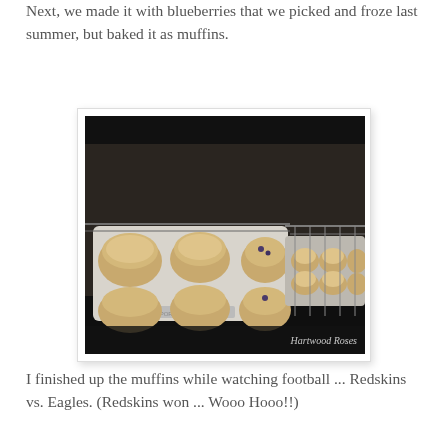Next, we made it with blueberries that we picked and froze last summer, but baked it as muffins.
[Figure (photo): Photo of blueberry muffins baking in an oven on two muffin tins on oven racks. The watermark 'Hartwood Roses' appears in the bottom right corner.]
I finished up the muffins while watching football ... Redskins vs. Eagles.  (Redskins won ... Wooo Hooo!!)
As the last of the muffins were baking, I cut a roast into cubes and it's simmering on the stove.  I think I